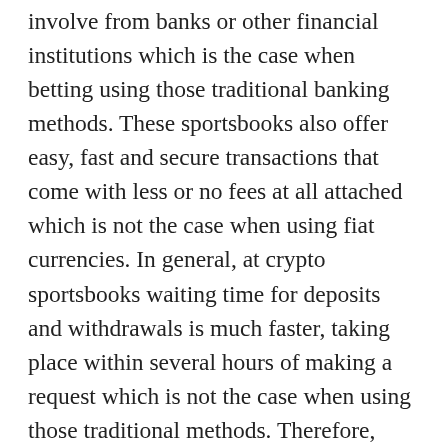involve from banks or other financial institutions which is the case when betting using those traditional banking methods. These sportsbooks also offer easy, fast and secure transactions that come with less or no fees at all attached which is not the case when using fiat currencies. In general, at crypto sportsbooks waiting time for deposits and withdrawals is much faster, taking place within several hours of making a request which is not the case when using those traditional methods. Therefore, more and more sportsbooks decided to hop on the bandwagon and embrace virtual currencies payments, so today you have a massive choice when it comes to choosing your sportsbook. Due to the large number of options, you can easily make the wrong choice. Fortunately, you can follow our best sportsbooks guide to avoid making